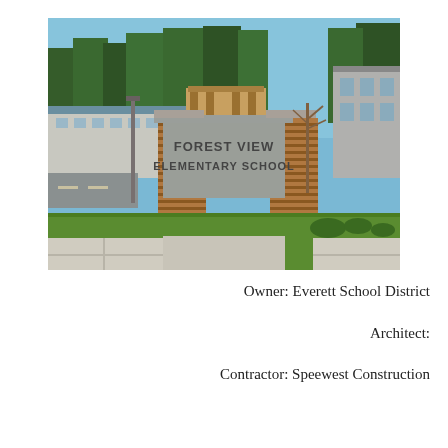[Figure (photo): Exterior photo of Forest View Elementary School showing the brick entrance sign reading 'FOREST VIEW ELEMENTARY SCHOOL', school buildings in the background, trees, blue sky, green lawn, and a sidewalk in the foreground.]
Owner: Everett School District
Architect:
Contractor: Speewest Construction